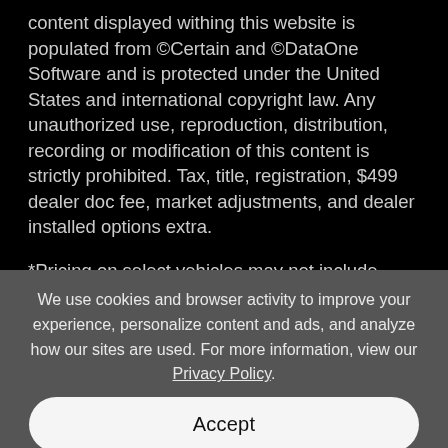content displayed withing this website is populated from ©Certain and ©DataOne Software and is protected under the United States and international copyright law. Any unauthorized use, reproduction, distribution, recording or modification of this content is strictly prohibited. Tax, title, registration, $499 dealer doc fee, market adjustments, and dealer installed options extra.

*Pricing on select vehicles may not include
We use cookies and browser activity to improve your experience, personalize content and ads, and analyze how our sites are used. For more information, view our Privacy Policy.
Accept